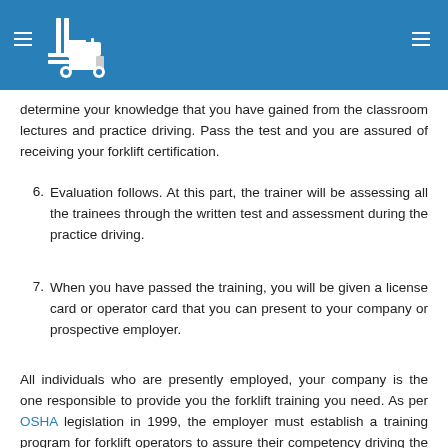Forklift certification training page header with logo and navigation
determine your knowledge that you have gained from the classroom lectures and practice driving. Pass the test and you are assured of receiving your forklift certification.
6. Evaluation follows. At this part, the trainer will be assessing all the trainees through the written test and assessment during the practice driving.
7. When you have passed the training, you will be given a license card or operator card that you can present to your company or prospective employer.
All individuals who are presently employed, your company is the one responsible to provide you the forklift training you need. As per OSHA legislation in 1999, the employer must establish a training program for forklift operators to assure their competency driving the forklifts.